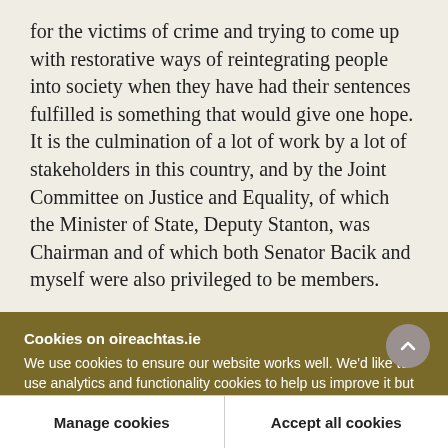for the victims of crime and trying to come up with restorative ways of reintegrating people into society when they have had their sentences fulfilled is something that would give one hope. It is the culmination of a lot of work by a lot of stakeholders in this country, and by the Joint Committee on Justice and Equality, of which the Minister of State, Deputy Stanton, was Chairman and of which both Senator Bacik and myself were also privileged to be members.
Cookies on oireachtas.ie
We use cookies to ensure our website works well. We'd like to use analytics and functionality cookies to help us improve it but we require your consent to do so. If you don't consent, only necessary cookies will be used. Read more about our cookies
Manage cookies
Accept all cookies